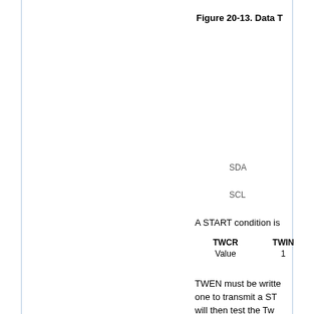Figure 20-13. Data T
[Figure (engineering-diagram): Timing diagram showing SDA and SCL signal lines for I2C START condition, partially visible. SDA label and SCL label shown on right side of diagram.]
A START condition is
| TWCR | TWIN |
| --- | --- |
| Value | 1 |
TWEN must be writte one to transmit a ST will then test the Tw b f Af